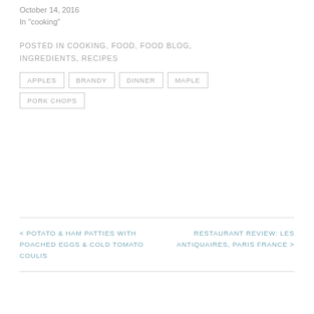October 14, 2016
In "cooking"
POSTED IN COOKING, FOOD, FOOD BLOG, INGREDIENTS, RECIPES
APPLES
BRANDY
DINNER
MAPLE
PORK CHOPS
< POTATO & HAM PATTIES WITH POACHED EGGS & COLD TOMATO COULIS
RESTAURANT REVIEW: LES ANTIQUAIRES, PARIS FRANCE >